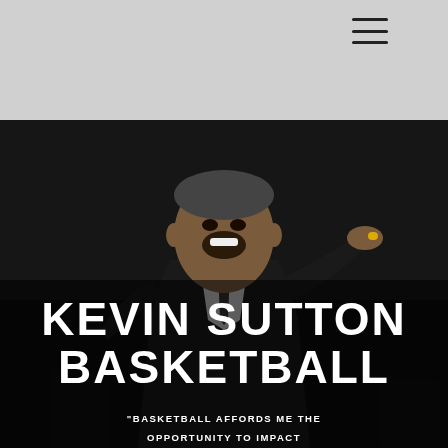[Figure (photo): Basketball coach Kevin Sutton shouting and gesturing on the sideline, wearing a dark suit and tie, photographed in a dark arena environment]
KEVIN SUTTON BASKETBALL
'BASKETBALL AFFORDS ME THE OPPORTUNITY TO IMPACT LIVES!'- COACH SUTTON